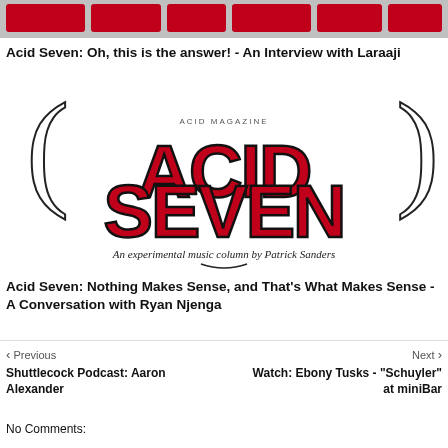[Figure (other): Top banner with red rectangular blocks on grey background]
Acid Seven: Oh, this is the answer! - An Interview with Laraaji
[Figure (logo): Acid Seven logo - bold red stylized text reading ACID SEVEN with parentheses decorations and tagline: An experimental music column by Patrick Sanders]
Acid Seven: Nothing Makes Sense, and That's What Makes Sense - A Conversation with Ryan Njenga
< Previous
Next >
Shuttlecock Podcast: Aaron Alexander
Watch: Ebony Tusks - "Schuyler" at miniBar
No Comments: